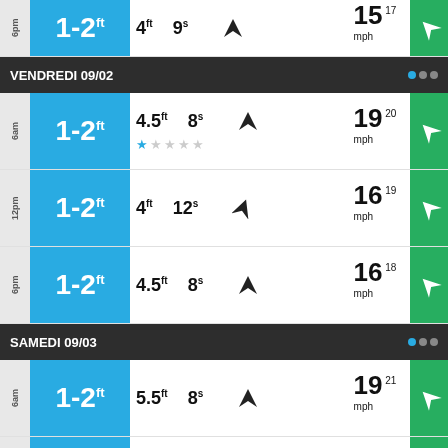6pm — 1-2ft, 4ft, 9s, 15 mph
VENDREDI 09/02
6am — 1-2ft, 4.5ft, 8s, 19 mph (20 mph gust)
12pm — 1-2ft, 4ft, 12s, 16 mph (19 mph gust)
6pm — 1-2ft, 4.5ft, 8s, 16 mph (18 mph gust)
SAMEDI 09/03
6am — 1-2ft, 5.5ft, 8s, 19 mph (21 mph gust)
12pm — 1ft, 6.5ft, 8s, 20 mph (22 mph gust)
6pm — 1-2ft, 6.5ft, 8s, 19 mph (22 mph gust)
DIMANCHE 09/04
6am — 1-2ft, 6ft, 8s, 17 mph (20 mph gust)